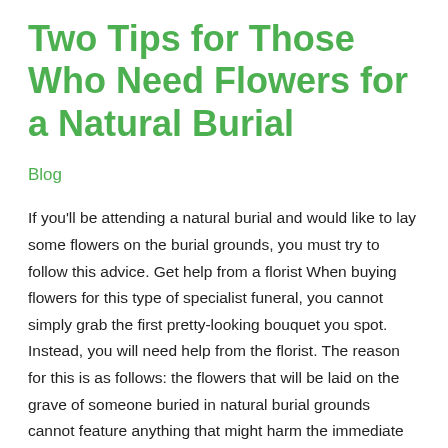Two Tips for Those Who Need Flowers for a Natural Burial
Blog
If you'll be attending a natural burial and would like to lay some flowers on the burial grounds, you must try to follow this advice. Get help from a florist When buying flowers for this type of specialist funeral, you cannot simply grab the first pretty-looking bouquet you spot. Instead, you will need help from the florist. The reason for this is as follows: the flowers that will be laid on the grave of someone buried in natural burial grounds cannot feature anything that might harm the immediate environment or which will not quickly break down.